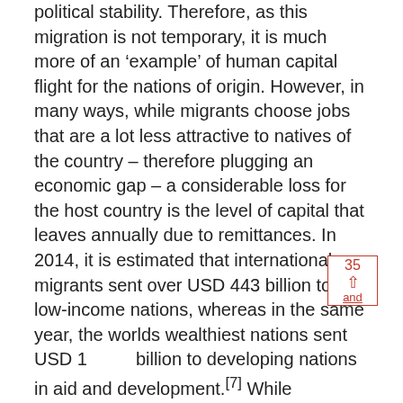political stability. Therefore, as this migration is not temporary, it is much more of an 'example' of human capital flight for the nations of origin. However, in many ways, while migrants choose jobs that are a lot less attractive to natives of the country – therefore plugging an economic gap – a considerable loss for the host country is the level of capital that leaves annually due to remittances. In 2014, it is estimated that international migrants sent over USD 443 billion to low-income nations, whereas in the same year, the worlds wealthiest nations sent USD 135 billion to developing nations in aid and development.[7] While remittances can do much good, such as increasing education, increasing gender equality, helping with more favourable attitudes...